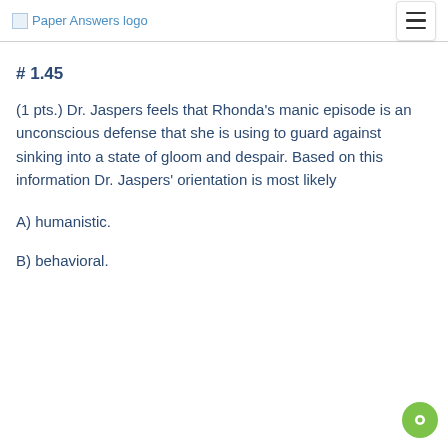Paper Answers logo
# 1.45
(1 pts.) Dr. Jaspers feels that Rhonda's manic episode is an unconscious defense that she is using to guard against sinking into a state of gloom and despair. Based on this information Dr. Jaspers' orientation is most likely
A) humanistic.
B) behavioral.